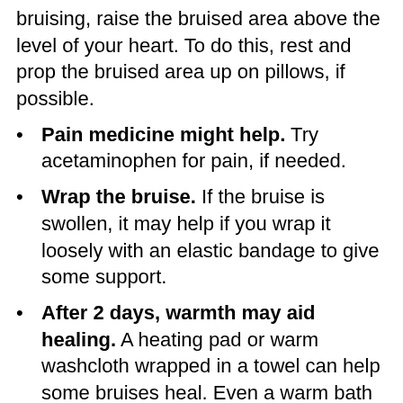bruising, raise the bruised area above the level of your heart. To do this, rest and prop the bruised area up on pillows, if possible.
Pain medicine might help. Try acetaminophen for pain, if needed.
Wrap the bruise. If the bruise is swollen, it may help if you wrap it loosely with an elastic bandage to give some support.
After 2 days, warmth may aid healing. A heating pad or warm washcloth wrapped in a towel can help some bruises heal. Even a warm bath can soothe sore areas. Warmth brings more blood flow to an area of the body, which can help as the body tries to heal the injury. Talk to your doctor to make sure heat is OK for your injury and definitely don’t use heat in the first 48 hours of an injury because